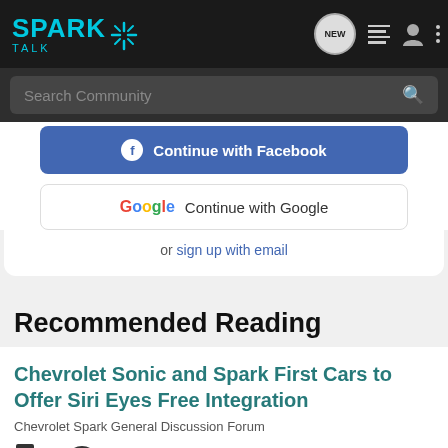SPARK TALK
Search Community
Continue with Facebook
Continue with Google
or sign up with email
Recommended Reading
Chevrolet Sonic and Spark First Cars to Offer Siri Eyes Free Integration
Chevrolet Spark General Discussion Forum
1   2K